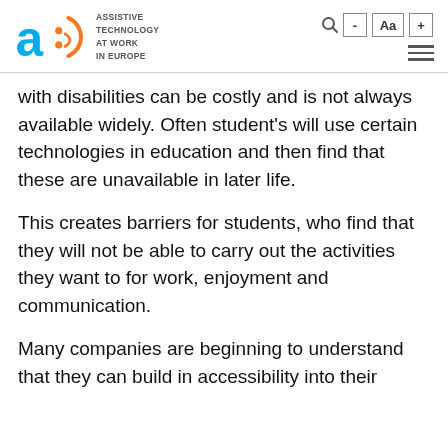ASSISTIVE TECHNOLOGY AT WORK IN EUROPE
with disabilities can be costly and is not always available widely. Often student’s will use certain technologies in education and then find that these are unavailable in later life.
This creates barriers for students, who find that they will not be able to carry out the activities they want to for work, enjoyment and communication.
Many companies are beginning to understand that they can build in accessibility into their